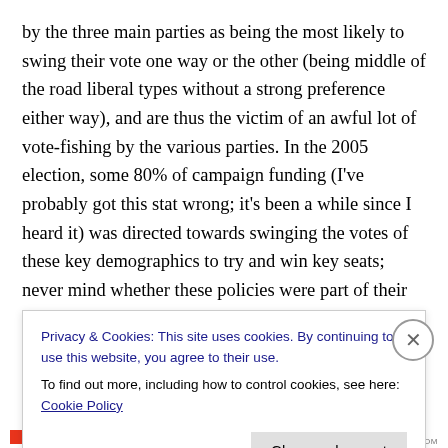by the three main parties as being the most likely to swing their vote one way or the other (being middle of the road liberal types without a strong preference either way), and are thus the victim of an awful lot of vote-fishing by the various parties. In the 2005 election, some 80% of campaign funding (I've probably got this stat wrong; it's been a while since I heard it) was directed towards swinging the votes of these key demographics to try and win key seats; never mind whether these policies were part of their exponent's political views or even whether they ever got enacted to any great degree, they had to go
Privacy & Cookies: This site uses cookies. By continuing to use this website, you agree to their use.
To find out more, including how to control cookies, see here: Cookie Policy
Close and accept